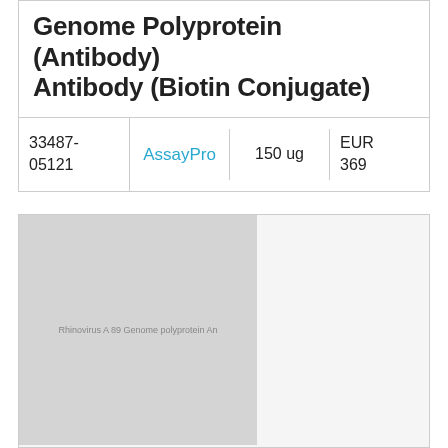Genome Polyprotein (Antibody) Antibody (Biotin Conjugate)
| Catalog | Supplier | Size | Price |
| --- | --- | --- | --- |
| 33487-05121 | AssayPro | 150 ug | EUR 369 |
[Figure (photo): Gray placeholder image for Rhinovirus A serotype 89 Genome polyprotein Antibody]
Rhinovirus A serotype 89 Genome polyprotein Antibody
| Catalog | Supplier | Size | Price |
| --- | --- | --- | --- |
|  |  | EUR | 100 |